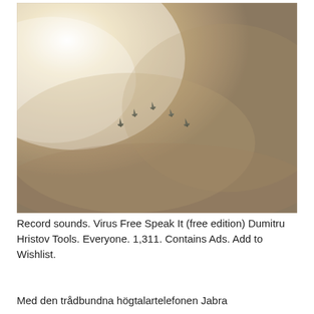[Figure (photo): Military jets flying in formation through misty, hazy sky with bright sunlight glowing from upper left. Five aircraft visible in a V or diamond formation against warm golden-grey foggy sky.]
Record sounds. Virus Free Speak It (free edition) Dumitru Hristov Tools. Everyone. 1,311. Contains Ads. Add to Wishlist.
Med den trådbundna högtalartelefonen Jabra